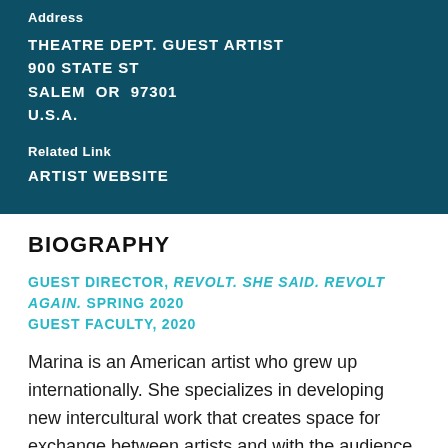Address
THEATRE DEPT. GUEST ARTIST
900 STATE ST
SALEM  OR  97301
U.S.A.
Related Link
ARTIST WEBSITE
BIOGRAPHY
GUEST DIRECTOR, REVOLT. SHE SAID. REVOLT AGAIN. SPRING 2020
GUEST FACULTY, 2020
Marina is an American artist who grew up internationally. She specializes in developing new intercultural work that creates space for exchange between artists and with the audience. The work has a multidisciplinary approach...